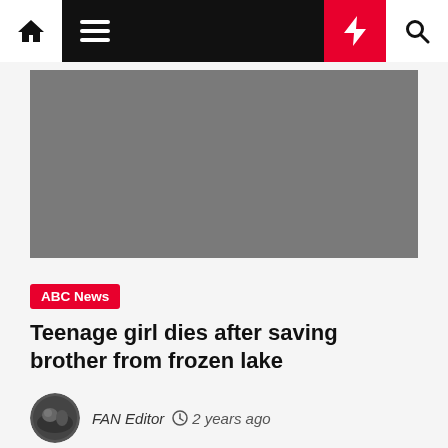Navigation bar with home, menu, lightning, and search icons
[Figure (photo): Gray placeholder image for article hero photo]
ABC News
Teenage girl dies after saving brother from frozen lake
FAN Editor  2 years ago